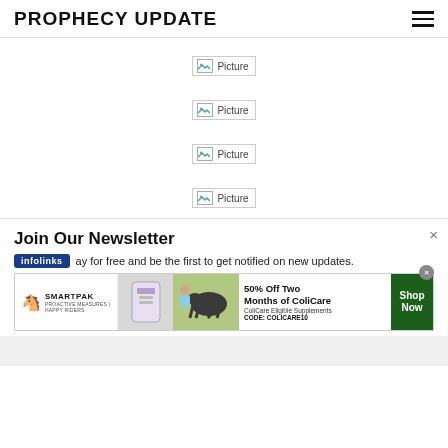PROPHECY UPDATE
[Figure (other): Broken image placeholder 1]
[Figure (other): Broken image placeholder 2]
[Figure (other): Broken image placeholder 3]
[Figure (other): Broken image placeholder 4]
Join Our Newsletter
infolinks — ay for free and be the first to get notified on new updates.
[Figure (other): SmartPak advertisement banner: 50% Off Two Months of ColiCare, ColiCare Eligible Supplements, CODE: COLICARE10, Shop Now]